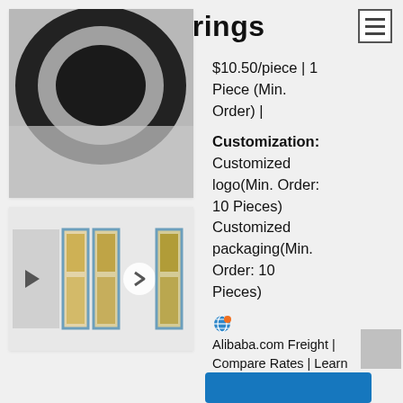Bearings
$10.50/piece | 1 Piece (Min. Order) |
[Figure (photo): Close-up photo of a bearing product on a gray background]
[Figure (photo): Thumbnail strip carousel showing multiple bearing product images with blue borders and navigation arrows]
Customization: Customized logo(Min. Order: 10 Pieces) Customized packaging(Min. Order: 10 Pieces)
Alibaba.com Freight | Compare Rates | Learn more